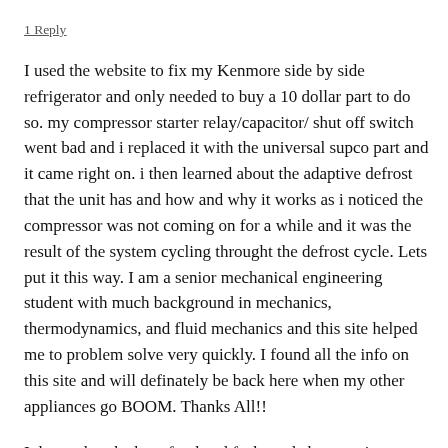1 Reply
I used the website to fix my Kenmore side by side refrigerator and only needed to buy a 10 dollar part to do so. my compressor starter relay/capacitor/ shut off switch went bad and i replaced it with the universal supco part and it came right on. i then learned about the adaptive defrost that the unit has and how and why it works as i noticed the compressor was not coming on for a while and it was the result of the system cycling throught the defrost cycle. Lets put it this way. I am a senior mechanical engineering student with much background in mechanics, thermodynamics, and fluid mechanics and this site helped me to problem solve very quickly. I found all the info on this site and will definately be back here when my other appliances go BOOM. Thanks All!!
I donated to the beer fund and feel good about saving money. i suggest you do the same if this site helped you a...